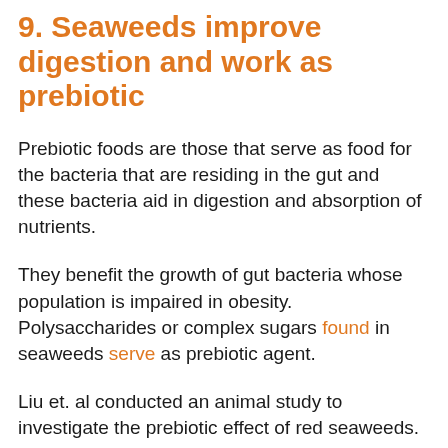9. Seaweeds improve digestion and work as prebiotic
Prebiotic foods are those that serve as food for the bacteria that are residing in the gut and these bacteria aid in digestion and absorption of nutrients.
They benefit the growth of gut bacteria whose population is impaired in obesity. Polysaccharides or complex sugars found in seaweeds serve as prebiotic agent.
Liu et. al conducted an animal study to investigate the prebiotic effect of red seaweeds.